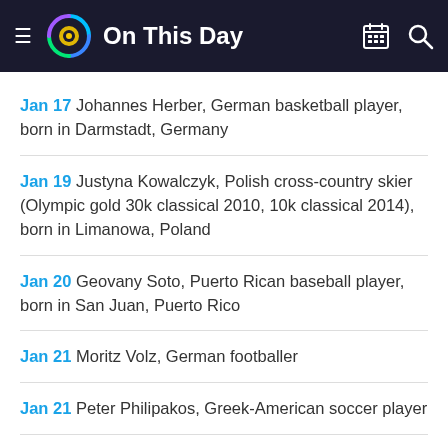On This Day
Jan 17 Johannes Herber, German basketball player, born in Darmstadt, Germany
Jan 19 Justyna Kowalczyk, Polish cross-country skier (Olympic gold 30k classical 2010, 10k classical 2014), born in Limanowa, Poland
Jan 20 Geovany Soto, Puerto Rican baseball player, born in San Juan, Puerto Rico
Jan 21 Moritz Volz, German footballer
Jan 21 Peter Philipakos, Greek-American soccer player
Jan 22 Shaun Cody, American football player, born in